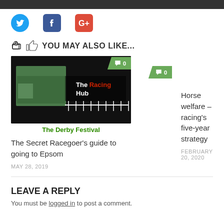[Figure (infographic): Social share icons: Twitter (blue bird), Facebook (blue f), Google+ (red/orange G+)]
YOU MAY ALSO LIKE...
[Figure (photo): The Derby Festival - The Racing Hub article thumbnail with crowd photo and white starting gates]
The Secret Racegoer's guide to going to Epsom
MAY 28, 2019
Horse welfare – racing's five-year strategy
FEBRUARY 20, 2020
LEAVE A REPLY
You must be logged in to post a comment.